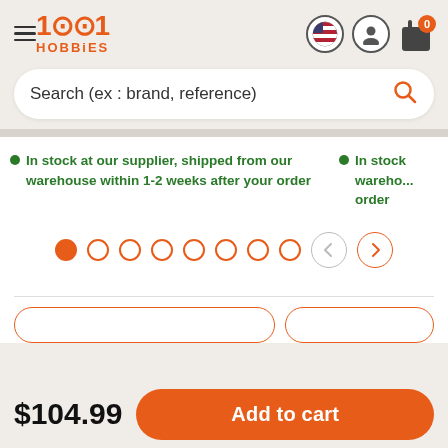[Figure (logo): 1001 Hobbies logo in orange with hamburger menu and header icons (flag, user, cart with 0 badge)]
Search (ex : brand, reference)
In stock at our supplier, shipped from our warehouse within 1-2 weeks after your order
In stock warehouse within order
[Figure (other): Carousel pagination dots (1 filled, 7 empty) with left and right arrow navigation buttons]
$104.99
Add to cart